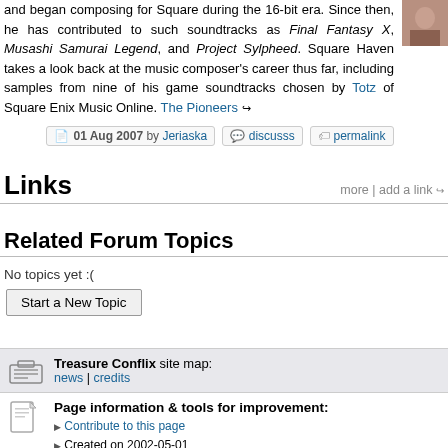and began composing for Square during the 16-bit era. Since then, he has contributed to such soundtracks as Final Fantasy X, Musashi Samurai Legend, and Project Sylpheed. Square Haven takes a look back at the music composer's career thus far, including samples from nine of his game soundtracks chosen by Totz of Square Enix Music Online. The Pioneers →
01 Aug 2007 by Jeriaska  discusss  permalink
Links
more | add a link →
Related Forum Topics
No topics yet :(
Start a New Topic
Treasure Conflix site map: news | credits
Page information & tools for improvement: Contribute to this page, Created on 2002-05-01, Last modified on 2007-07-06, Read 8,768 times, The original work here is licensed under a Creative Commons A-NC-SA 3.0 License